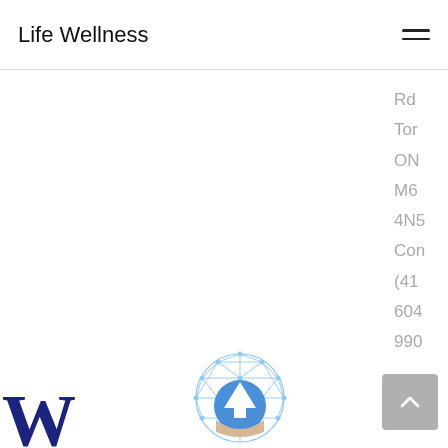Life Wellness
Rd
Tor
ON
M6
4N5
Con
(41
604
990
[Figure (logo): Partial blue serif letters logo at bottom left, appears to say 'Wa' or similar]
[Figure (logo): Circular logo with geometric geodesic dome lines in light blue, containing an upward arrow/mountain icon in blue and beige/cream colors]
[Figure (other): Grey scroll-to-top button with upward chevron arrow]